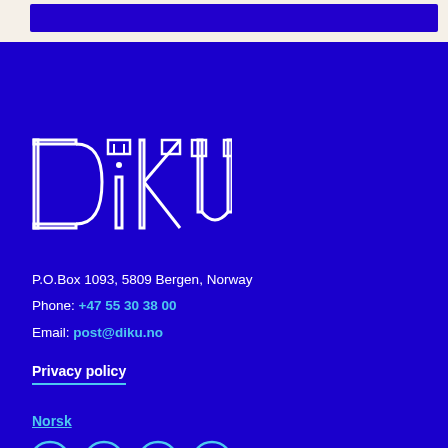[Figure (logo): Diku logo in white outline style on dark blue background]
P.O.Box 1093, 5809 Bergen, Norway
Phone: +47 55 30 38 00
Email: post@diku.no
Privacy policy
Norsk
[Figure (illustration): Social media icons: Facebook, LinkedIn, Twitter, Spotify — white outlines on teal circles]